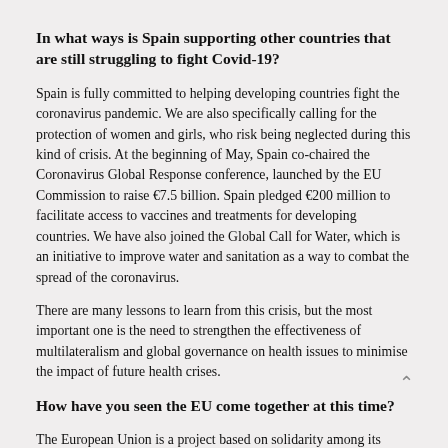In what ways is Spain supporting other countries that are still struggling to fight Covid-19?
Spain is fully committed to helping developing countries fight the coronavirus pandemic. We are also specifically calling for the protection of women and girls, who risk being neglected during this kind of crisis. At the beginning of May, Spain co-chaired the Coronavirus Global Response conference, launched by the EU Commission to raise €7.5 billion. Spain pledged €200 million to facilitate access to vaccines and treatments for developing countries. We have also joined the Global Call for Water, which is an initiative to improve water and sanitation as a way to combat the spread of the coronavirus.
There are many lessons to learn from this crisis, but the most important one is the need to strengthen the effectiveness of multilateralism and global governance on health issues to minimise the impact of future health crises.
How have you seen the EU come together at this time?
The European Union is a project based on solidarity among its people and its member states, a project with which Spain